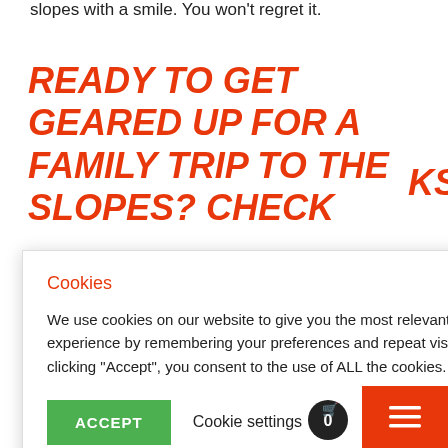slopes with a smile. You won't regret it.
READY TO GET GEARED UP FOR A FAMILY TRIP TO THE SLOPES? CHECK …KS…
Cookies
We use cookies on our website to give you the most relevant experience by remembering your preferences and repeat visits. By clicking "Accept", you consent to the use of ALL the cookies.
ACCEPT  Cookie settings
REJECT
[Figure (photo): Pink ski helmet with visor/face shield]
[Figure (other): Cart icon with badge showing 0, and orange hamburger menu button]